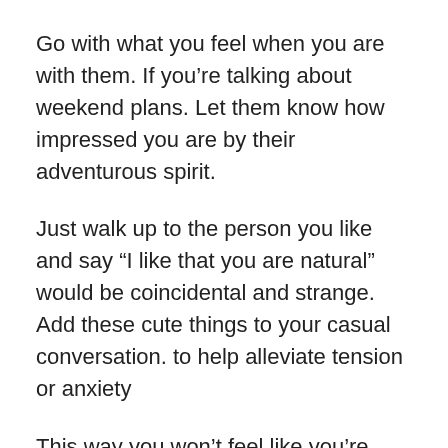Go with what you feel when you are with them. If you’re talking about weekend plans. Let them know how impressed you are by their adventurous spirit.
Just walk up to the person you like and say “I like that you are natural” would be coincidental and strange. Add these cute things to your casual conversation. to help alleviate tension or anxiety
This way you won’t feel like you’re taking a risk or offering a pickup service. Instead, you are confidently and smoothly complimenting your crush. [Read: How to seem confident and